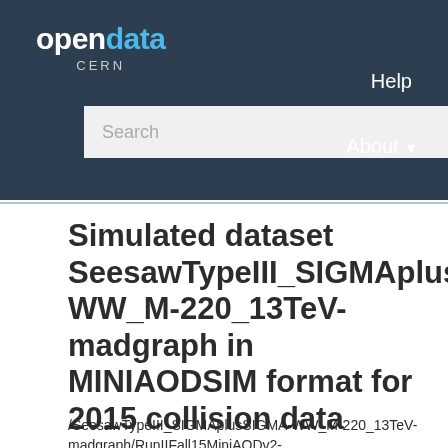[Figure (screenshot): CERN Open Data portal logo with 'open' in white and 'data' in blue, 'CERN' in gray below]
Help
[Figure (screenshot): Search bar with text input field and blue search button with magnifying glass icon]
About ▾
Simulated dataset SeesawTypeIII_SIGMAplusSIGMA-WW_M-220_13TeV-madgraph in MINIAODSIM format for 2015 collision data
/SeesawTypeIII_SIGMAplusSIGMA-WW_M-220_13TeV-madgraph/RunIIFall15MiniAODv2-